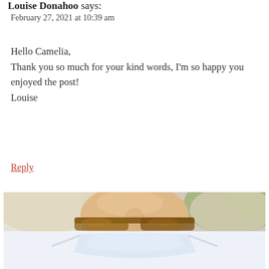Louise Donahoo says:
February 27, 2021 at 10:39 am
Hello Camelia,
Thank you so much for your kind words, I'm so happy you enjoyed the post!
Louise
Reply
[Figure (photo): Close-up photo of a blonde woman wearing tortoiseshell glasses and a clear/light-colored face mask, with a green blurred background.]